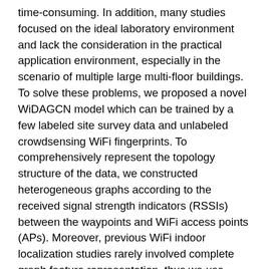time-consuming. In addition, many studies focused on the ideal laboratory environment and lack the consideration in the practical application environment, especially in the scenario of multiple large multi-floor buildings. To solve these problems, we proposed a novel WiDAGCN model which can be trained by a few labeled site survey data and unlabeled crowdsensing WiFi fingerprints. To comprehensively represent the topology structure of the data, we constructed heterogeneous graphs according to the received signal strength indicators (RSSIs) between the waypoints and WiFi access points (APs). Moreover, previous WiFi indoor localization studies rarely involved complete graph feature representation, thus we use graph convolutional network (GCN) to extract graph-level embeddings. There are also some difficult problems, for example, a large amount of unlabeled data that cannot be applied to a supervised model, and the existence of multiple data domains leads to inconsistency in data distribution. Therefore, a semi-supervised domain adversarial training scheme was used to make full use of unlabeled data and align the data distribution of different domains. A public indoor localization dataset containing different buildings was used to evaluate the performance of the model. The experimental results show that our system can achieve a competitive localization